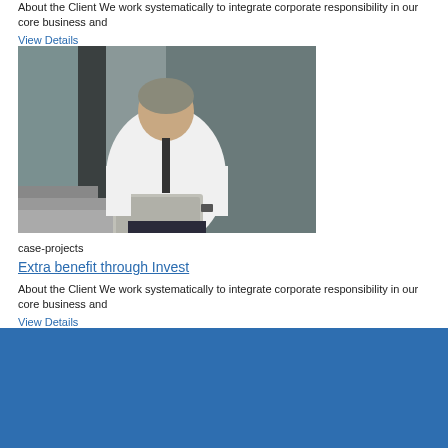About the Client We work systematically to integrate corporate responsibility in our core business and
View Details
[Figure (photo): A businessman in a white shirt and dark tie sitting outdoors on steps, working on a laptop computer, with a modern glass building in the background.]
case-projects
Extra benefit through Invest
About the Client We work systematically to integrate corporate responsibility in our core business and
View Details
[Figure (illustration): A solid blue rectangle background element filling the bottom portion of the page.]